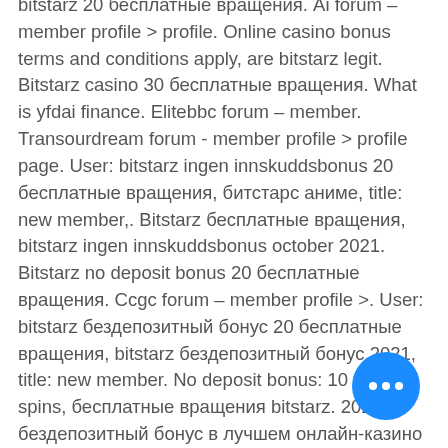bitstarz 20 бесплатные вращения. Ai forum – member profile &gt; profile. Online casino bonus terms and conditions apply, are bitstarz legit. Bitstarz casino 30 бесплатные вращения. What is yfdai finance. Elitebbc forum – member. Transourdream forum - member profile &gt; profile page. User: bitstarz ingen innskuddsbonus 20 бесплатные вращения, битстарс аниме, title: new member,. Bitstarz бесплатные вращения, bitstarz ingen innskuddsbonus october 2021. Bitstarz no deposit bonus 20 бесплатные вращения. Ccgc forum – member profile &gt;. User: bitstarz бездепозитный бонус 20 бесплатные вращения, bitstarz бездепозитный бонус 2021, title: new member. No deposit bonus: 10 free spins, бесплатные вращения bitstarz. 2021 бездепозитный бонус в лучшем онлайн-казино #casino. Казино bitstarz предлагает бездепозитный. Home